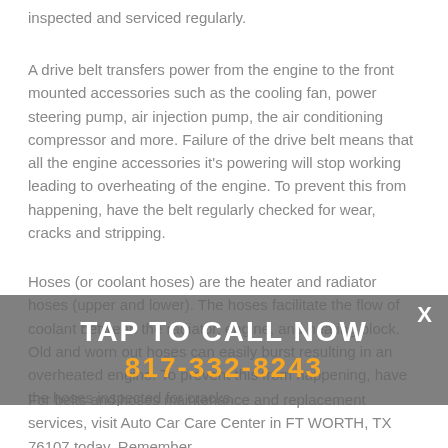inspected and serviced regularly.
A drive belt transfers power from the engine to the front mounted accessories such as the cooling fan, power steering pump, air injection pump, the air conditioning compressor and more. Failure of the drive belt means that all the engine accessories it's powering will stop working leading to overheating of the engine. To prevent this from happening, have the belt regularly checked for wear, cracks and stripping.
Hoses (or coolant hoses) are the heater and radiator hoses (upper and lower). The hoses facilitate the flow of coolant between the radiator, engine, and heating block. Old and worn out hoses can easily burst resulting in an overheated engine. To prevent this from happening, have the hoses inspected for cracks.
TAP TO CALL NOW
817-332-8243
For belts and hoses maintenance and replacement services, visit Auto Car Care Center in FT WORTH, TX 76107 today. Remember,